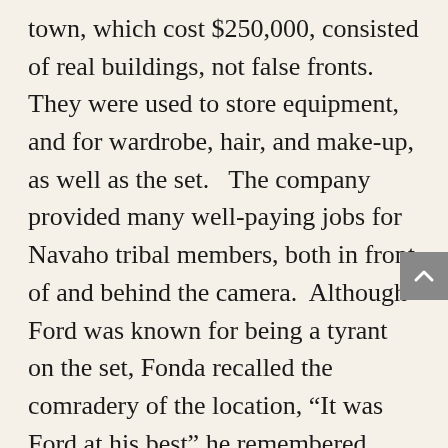town, which cost $250,000, consisted of real buildings, not false fronts.  They were used to store equipment, and for wardrobe, hair, and make-up, as well as the set.   The company provided many well-paying jobs for Navaho tribal members, both in front of and behind the camera.  Although Ford was known for being a tyrant on the set, Fonda recalled the comradery of the location, “It was Ford at his best” he remembered (Davis 186).  Ford was surrounded by his “stock company” of regular actors, contributing to his enjoyment.  Many others bonded over making first film since being discharged from the service, including Henry Fonda and Victor Mature, who played Doc